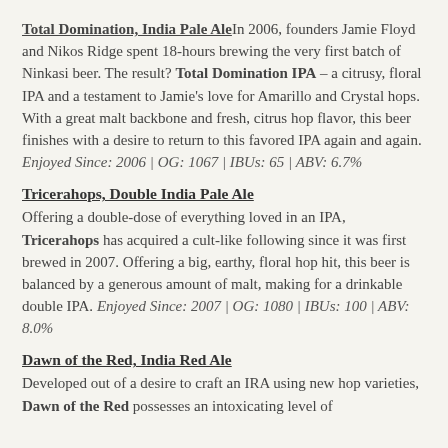Total Domination, India Pale Ale In 2006, founders Jamie Floyd and Nikos Ridge spent 18-hours brewing the very first batch of Ninkasi beer. The result? Total Domination IPA – a citrusy, floral IPA and a testament to Jamie's love for Amarillo and Crystal hops. With a great malt backbone and fresh, citrus hop flavor, this beer finishes with a desire to return to this favored IPA again and again. Enjoyed Since: 2006 | OG: 1067 | IBUs: 65 | ABV: 6.7%
Tricerahops, Double India Pale Ale
Offering a double-dose of everything loved in an IPA, Tricerahops has acquired a cult-like following since it was first brewed in 2007. Offering a big, earthy, floral hop hit, this beer is balanced by a generous amount of malt, making for a drinkable double IPA. Enjoyed Since: 2007 | OG: 1080 | IBUs: 100 | ABV: 8.0%
Dawn of the Red, India Red Ale
Developed out of a desire to craft an IRA using new hop varieties, Dawn of the Red possesses an intoxicating level of